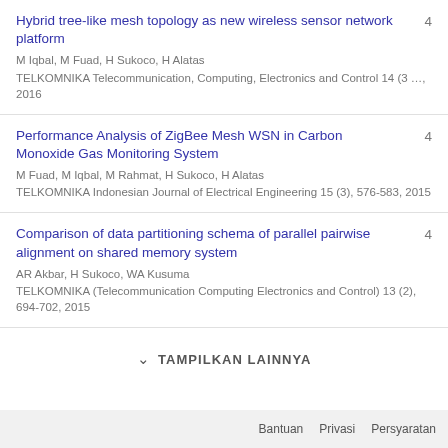Hybrid tree-like mesh topology as new wireless sensor network platform
M Iqbal, M Fuad, H Sukoco, H Alatas
TELKOMNIKA Telecommunication, Computing, Electronics and Control 14 (3 ..., 2016
4
Performance Analysis of ZigBee Mesh WSN in Carbon Monoxide Gas Monitoring System
M Fuad, M Iqbal, M Rahmat, H Sukoco, H Alatas
TELKOMNIKA Indonesian Journal of Electrical Engineering 15 (3), 576-583, 2015
4
Comparison of data partitioning schema of parallel pairwise alignment on shared memory system
AR Akbar, H Sukoco, WA Kusuma
TELKOMNIKA (Telecommunication Computing Electronics and Control) 13 (2), 694-702, 2015
4
TAMPILKAN LAINNYA
Bantuan   Privasi   Persyaratan